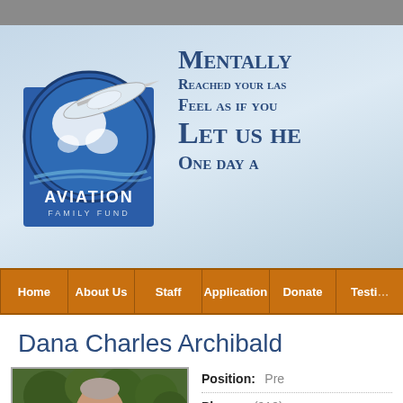[Figure (logo): Aviation Family Fund logo: globe with airplane, blue square background, white text 'AVIATION FAMILY FUND']
Mentally Reached your las Feel as if you Let us he One day a
Home | About Us | Staff | Application | Donate | Testi...
Dana Charles Archibald
[Figure (photo): Headshot of Dana Charles Archibald, older man with gray hair, outdoor background with trees]
Position: Pre...
Phone: (919)...